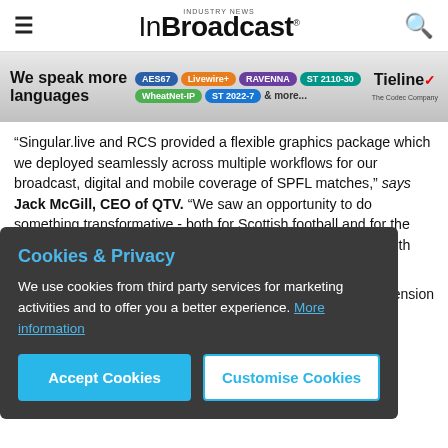InBroadcast (Industry News)
[Figure (infographic): Tieline codec company advertisement banner: 'We speak more languages' with protocol tags AES67, Livewire+, RAVENNA, ST 2110-30, WheatNet-IP, ST 2022-7, & more..., and Tieline The Codec Company logo]
“Singular.live and RCS provided a flexible graphics package which we deployed seamlessly across multiple workflows for our broadcast, digital and mobile coverage of SPFL matches,” says Jack McGill, CEO of QTV. “We saw an opportunity to do something transformative - both for Scottish football and for the broadcast sector in Scotland. The su... using s... working with RCS an... es for the platform next season.”
Cookies & Privacy
We use cookies from third party services for marketing activities and to offer you a better experience. More information
Accept Cookies | Customise Cookies
“We’re delighted to support Singular.live to add that extra dimension to QTV’s matchday graphics for the SPFL,” comments David Peacock, Senior Project Manager, RCS